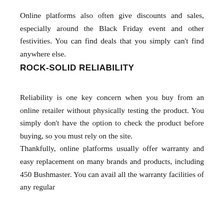Online platforms also often give discounts and sales, especially around the Black Friday event and other festivities. You can find deals that you simply can't find anywhere else.
ROCK-SOLID RELIABILITY
Reliability is one key concern when you buy from an online retailer without physically testing the product. You simply don't have the option to check the product before buying, so you must rely on the site.
Thankfully, online platforms usually offer warranty and easy replacement on many brands and products, including 450 Bushmaster. You can avail all the warranty facilities of any regular